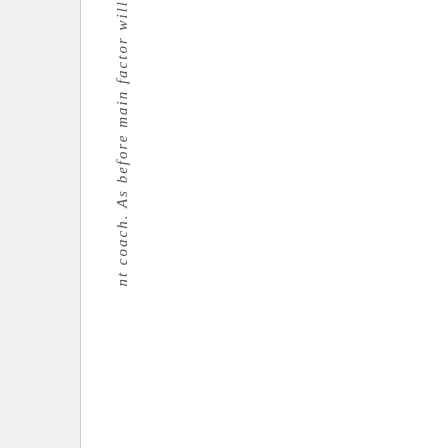nt coach. As before main factor will